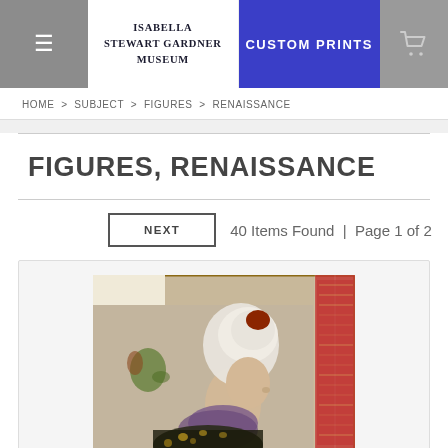ISABELLA STEWART GARDNER MUSEUM | CUSTOM PRINTS
HOME > SUBJECT > FIGURES > RENAISSANCE
FIGURES, RENAISSANCE
NEXT  40 Items Found | Page 1 of 2
[Figure (photo): A Renaissance-era painting of a woman in profile view, wearing an elaborate white turban headdress with red hair visible, and a richly decorated garment with dark and gold patterning. A floral motif appears in the background to the left, and an ornate decorative border is visible on the right side.]